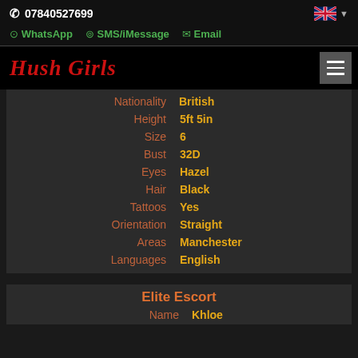07840527699
WhatsApp  SMS/iMessage  Email
Hush Girls
| Field | Value |
| --- | --- |
| Nationality | British |
| Height | 5ft 5in |
| Size | 6 |
| Bust | 32D |
| Eyes | Hazel |
| Hair | Black |
| Tattoos | Yes |
| Orientation | Straight |
| Areas | Manchester |
| Languages | English |
Elite Escort
Name  Khloe